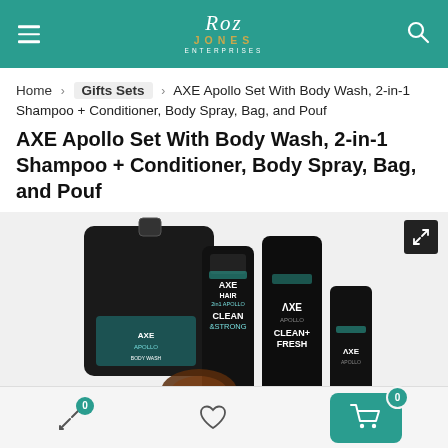Roz Jones Enterprises
Home > Gifts Sets > AXE Apollo Set With Body Wash, 2-in-1 Shampoo + Conditioner, Body Spray, Bag, and Pouf
AXE Apollo Set With Body Wash, 2-in-1 Shampoo + Conditioner, Body Spray, Bag, and Pouf
[Figure (photo): AXE Apollo gift set including a black toiletry bag, 2-in-1 shampoo conditioner bottle, body wash bottle labeled Clean+Fresh, deodorant body spray, and a bath pouf]
Navigation bar with compare (0), wishlist, and cart (0) icons